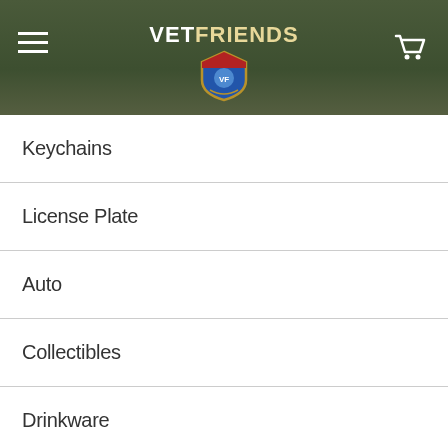VETFRIENDS
Keychains
License Plate
Auto
Collectibles
Drinkware
Flags
Magnets
Masks
Military Medals & Ribbons
Military Gear